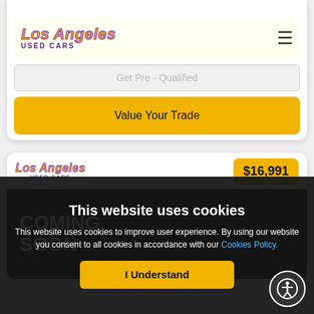[Figure (screenshot): Los Angeles Used Cars website navigation bar with logo and hamburger menu]
Get Pre-Qualified
Value Your Trade
[Figure (screenshot): Second car listing card showing Los Angeles Used Cars logo, $16,991 price badge, and COMING SOON placeholder image]
$16,991
COMING SOON
This website uses cookies
This website uses cookies to improve user experience. By using our website you consent to all cookies in accordance with our Cookies Policy.
I Understand